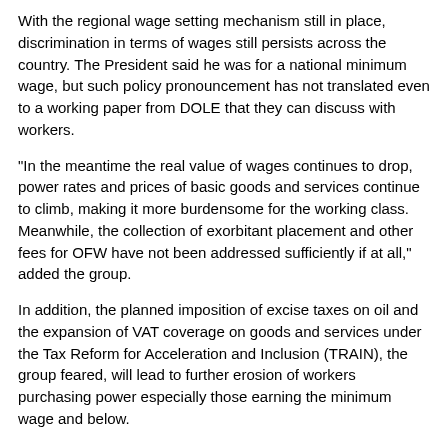With the regional wage setting mechanism still in place, discrimination in terms of wages still persists across the country. The President said he was for a national minimum wage, but such policy pronouncement has not translated even to a working paper from DOLE that they can discuss with workers.
"In the meantime the real value of wages continues to drop, power rates and prices of basic goods and services continue to climb, making it more burdensome for the working class. Meanwhile, the collection of exorbitant placement and other fees for OFW have not been addressed sufficiently if at all," added the group.
In addition, the planned imposition of excise taxes on oil and the expansion of VAT coverage on goods and services under the Tax Reform for Acceleration and Inclusion (TRAIN), the group feared, will lead to further erosion of workers purchasing power especially those earning the minimum wage and below.
ILO Convention 151 ratification, the saving grace
The President, however, got a passing mark for being the first chief executive to endorse for Senate concurrence International Labor Convention 151 on Labor Relations in the Public Sector. The treaty, once ratified by the Senate, would guarantee the right to organize of public sector workers and allow them to bargain for better working conditions, among others.